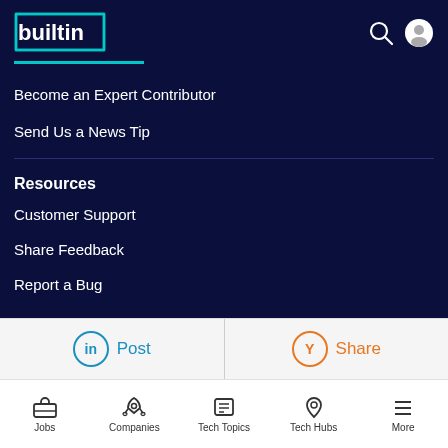[Figure (logo): Built In logo in white text with teal border box]
Become an Expert Contributor
Send Us a News Tip
Resources
Customer Support
Share Feedback
Report a Bug
[Figure (infographic): LinkedIn Post and Hacker News Share buttons]
Jobs  Companies  Tech Topics  Tech Hubs  More